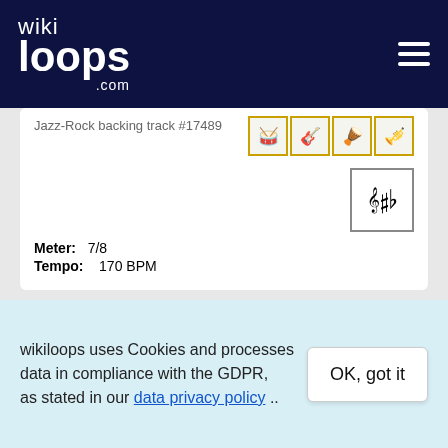wikiloops.com
Jazz-Rock backing track #17489
Meter: 7/8
Tempo: 170 BPM
Live from the Caravan
Jazz-Rock backing track #56328
Sounds like: Sabbath, Zakk Wylde
wikiloops uses Cookies and processes data in compliance with the GDPR, as stated in our data privacy policy ..